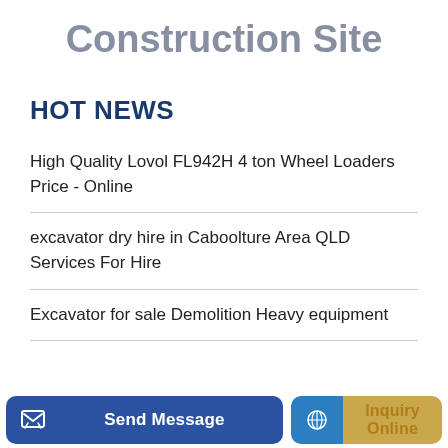Construction Site
HOT NEWS
High Quality Lovol FL942H 4 ton Wheel Loaders Price - Online
excavator dry hire in Caboolture Area QLD Services For Hire
Excavator for sale Demolition Heavy equipment
Send Message
Inquiry Online